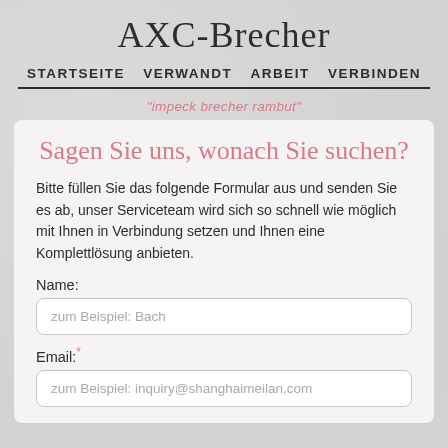AXC-Brecher
STARTSEITE   VERWANDT   ARBEIT   VERBINDEN
"impeck brecher rambut"
Sagen Sie uns, wonach Sie suchen?
Bitte füllen Sie das folgende Formular aus und senden Sie es ab, unser Serviceteam wird sich so schnell wie möglich mit Ihnen in Verbindung setzen und Ihnen eine Komplettlösung anbieten.
Name:
zum Beispiel: Bach
Email:*
zum Beispiel: inquiry@shanghaimeilan.com